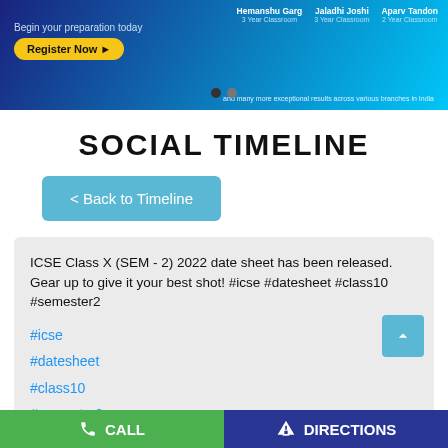[Figure (screenshot): Banner advertisement with blue gradient background showing 'Begin your preparation today' and 'Register Now' button, with student names Hemanshu Garg, Jaladhi Joshi, Aparv Tandon listed on the right side]
SOCIAL TIMELINE
< Back to Timeline
ICSE Class X (SEM - 2) 2022 date sheet has been released. Gear up to give it your best shot! #icse #datesheet #class10 #semester2
#icse
#datesheet
#class10
#semester2
Posted On: 16 Mar 2022 9:00 AM
CALL   DIRECTIONS